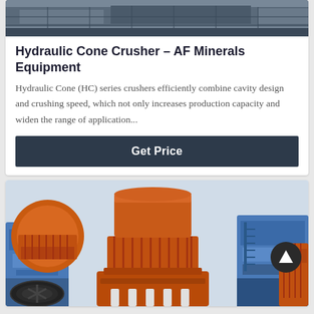[Figure (photo): Partial view of a truck/transport vehicle against a grey background — top portion of a product card]
Hydraulic Cone Crusher – AF Minerals Equipment
Hydraulic Cone (HC) series crushers efficiently combine cavity design and crushing speed, which not only increases production capacity and widen the range of application...
Get Price
[Figure (photo): Orange and blue hydraulic cone crusher machines grouped together, showing the heavy industrial equipment from a side angle]